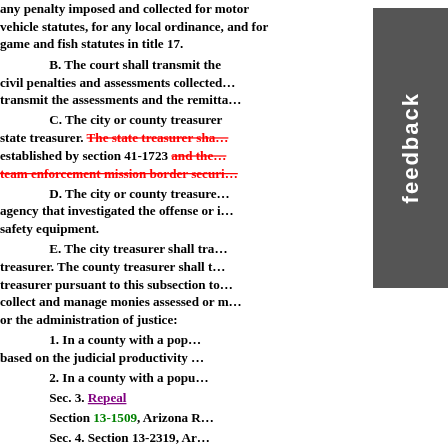any penalty imposed and collected for motor vehicle statutes, for any local ordinance, and for game and fish statutes in title 17.
B. The court shall transmit the civil penalties and assessments collected... transmit the assessments and the remittance...
C. The city or county treasurer... state treasurer. The state treasurer shall [strikethrough] established by section 41-1723 and the [strikethrough] team enforcement mission border security [strikethrough]
D. The city or county treasurer... agency that investigated the offense or is... safety equipment.
E. The city treasurer shall transmit to treasurer. The county treasurer shall transmit... treasurer pursuant to this subsection to... collect and manage monies assessed or... or the administration of justice:
1. In a county with a population... based on the judicial productivity...
2. In a county with a population...
Sec. 3. Repeal
Section 13-1509, Arizona R...
Sec. 4. Section 13-2319, Arizona... 13-2319. Smuggling; classification...
A. It is unlawful for a person...